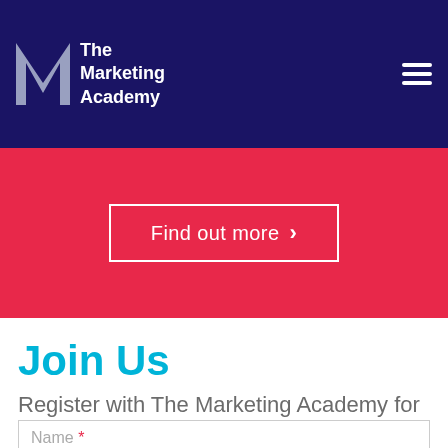[Figure (logo): The Marketing Academy logo with stylized M and text on dark navy background]
Find out more >
Join Us
Register with The Marketing Academy for regular updates, info and news**
Name *